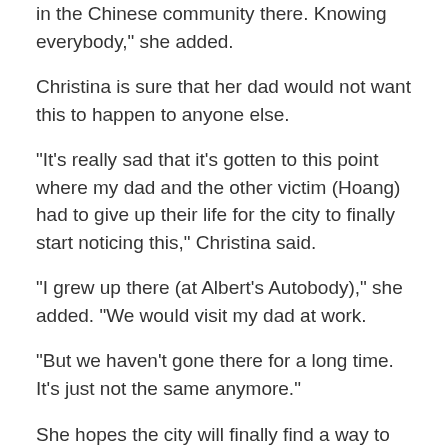in the Chinese community there. Knowing everybody," she added.
Christina is sure that her dad would not want this to happen to anyone else.
"It's really sad that it's gotten to this point where my dad and the other victim (Hoang) had to give up their life for the city to finally start noticing this," Christina said.
"I grew up there (at Albert's Autobody)," she added. "We would visit my dad at work.
"But we haven't gone there for a long time. It's just not the same anymore."
She hopes the city will finally find a way to permanently address issues Chinatown has